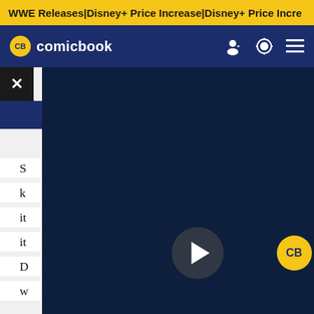WWE Releases | Disney+ Price Increase | Disney+ Price Incre
CB comicbook
[Figure (screenshot): ComicBook.com video player overlay showing the CB comicbook logo on a dark navy background with a play button circle in the center. A close (X) button is in the top-left corner.]
Premium tier (without ads) will be increasing to $10.99 a month and $109.99 annually, an increase of three dollars a month for monthly subscribers and $40 for annual